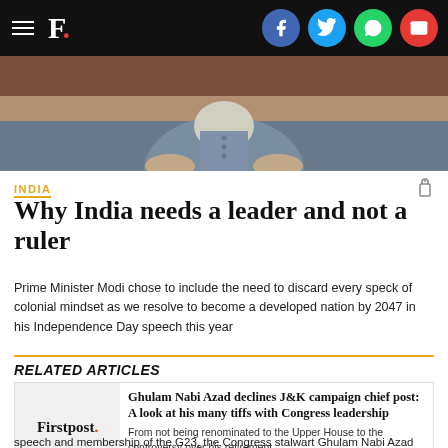F. [Firstpost logo with social icons: Facebook, Twitter, WhatsApp, Email]
[Figure (photo): Hero image showing a person in a grey/blue vest (likely Prime Minister Modi) from the waist down, seated, with a blurred background.]
INDIA
Why India needs a leader and not a ruler
Prime Minister Modi chose to include the need to discard every speck of colonial mindset as we resolve to become a developed nation by 2047 in his Independence Day speech this year
RELATED ARTICLES
[Figure (logo): Firstpost logo - text 'Firstpost.' with red dot]
Ghulam Nabi Azad declines J&K campaign chief post: A look at his many tiffs with Congress leadership
From not being renominated to the Upper House to the controversy over his retirement speech and membership of the G23, the Congress stalwart Ghulam Nabi Azad seems to be locked in a never-ending tiff